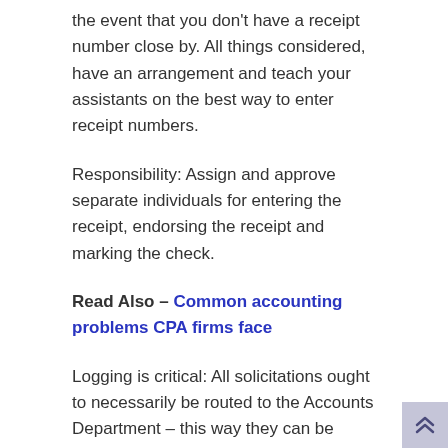the event that you don't have a receipt number close by. All things considered, have an arrangement and teach your assistants on the best way to enter receipt numbers.
Responsibility: Assign and approve separate individuals for entering the receipt, endorsing the receipt and marking the check.
Read Also – Common accounting problems CPA firms face
Logging is critical: All solicitations ought to necessarily be routed to the Accounts Department – this way they can be logged.
Characterize Budget: It is more secure to realize your